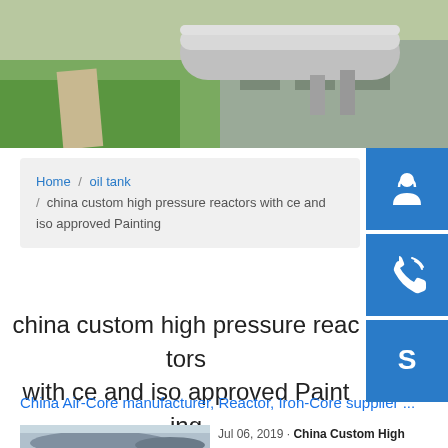[Figure (photo): Aerial/exterior photo of industrial facility with large cylindrical tank/pipe structure on rooftop, green fields visible]
Home / oil tank / china custom high pressure reactors with ce and iso approved Painting
china custom high pressure reactors with ce and iso approved Painting
China Air-Core manufacturer, Reactor, Iron-Core supplier ...
Jul 06, 2019 · China Custom High Pressure Reactors with Ce and ISO Approved Coating China ...
[Figure (photo): Photo of large industrial storage tanks or reactors outdoors]